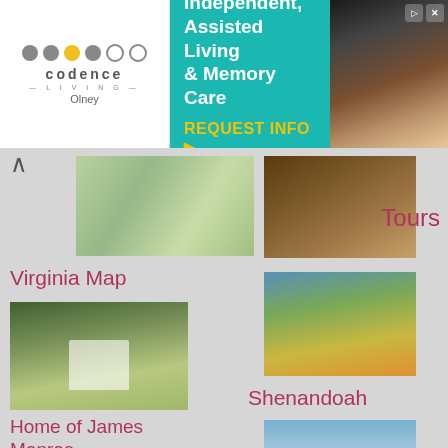[Figure (infographic): Advertisement banner for Codence Living Olney - Independent, Assisted Living & Memory Care with REQUEST INFO button]
Independent, Assisted Living & Memory Care
REQUEST INFO ▸
[Figure (photo): Virginia map thumbnail]
[Figure (photo): Tours - people on a historical tour]
Tours
Virginia Map
[Figure (photo): Shenandoah - mountain valley with fall foliage]
[Figure (photo): Home of James Monroe - Highland estate]
Home of James Monroe
Shenandoah
[Figure (photo): Virginia Beaches - beach scene]
[Figure (photo): Maryland/Virginia map]
Virginia Beaches
Virginia Beaches Map
Shopping